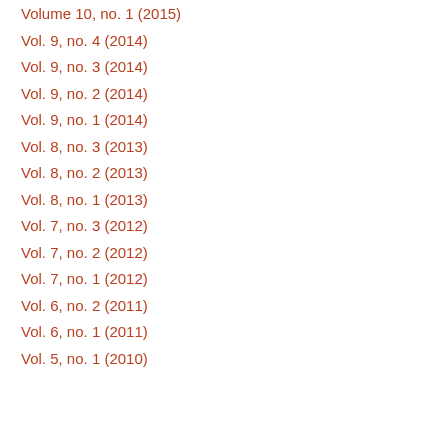Volume 10, no. 1 (2015)
Vol. 9, no. 4 (2014)
Vol. 9, no. 3 (2014)
Vol. 9, no. 2 (2014)
Vol. 9, no. 1 (2014)
Vol. 8, no. 3 (2013)
Vol. 8, no. 2 (2013)
Vol. 8, no. 1 (2013)
Vol. 7, no. 3 (2012)
Vol. 7, no. 2 (2012)
Vol. 7, no. 1 (2012)
Vol. 6, no. 2 (2011)
Vol. 6, no. 1 (2011)
Vol. 5, no. 1 (2010)